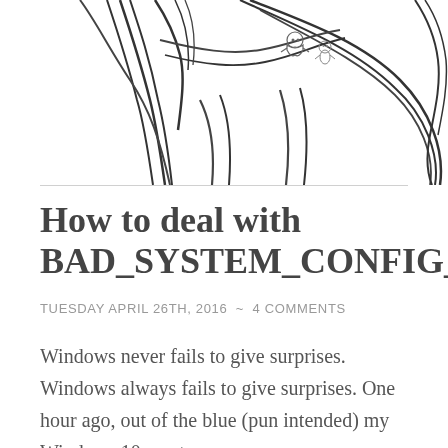[Figure (illustration): Partial line drawing illustration showing a creature or character (appears to be a dinosaur or similar animal) with flowing lines, and small cartoon figures in the upper right area. Black line art on white background, cropped at top.]
How to deal with BAD_SYSTEM_CONFIG_INFO
TUESDAY APRIL 26TH, 2016  ~  4 COMMENTS
Windows never fails to give surprises. Windows always fails to give surprises. One hour ago, out of the blue (pun intended) my Windows 10 went